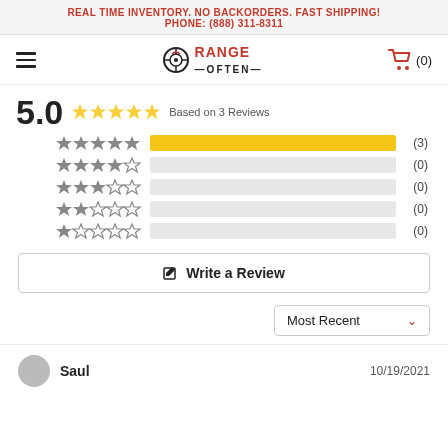REAL TIME INVENTORY. NO BACKORDERS. FAST SHIPPING!
PHONE: (888) 311-8311
[Figure (logo): Range Often logo with target/crosshair icon and shopping cart icon]
5.0  Based on 3 Reviews
[Figure (bar-chart): Rating distribution]
✎  Write a Review
Most Recent  ∨
Saul    10/19/2021